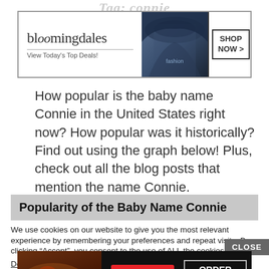Tag: connie
[Figure (other): Bloomingdales advertisement banner with logo, 'View Today's Top Deals!' tagline, woman in wide-brim hat, and 'SHOP NOW >' call-to-action button]
How popular is the baby name Connie in the United States right now? How popular was it historically? Find out using the graph below! Plus, check out all the blog posts that mention the name Connie.
Popularity of the Baby Name Connie
We use cookies on our website to give you the most relevant experience by remembering your preferences and repeat visits. By clicking “Accept”, you consent to the use of ALL the cookies.
Do not sell my personal information.
[Figure (other): Seamless food delivery advertisement with pizza image, seamless logo in red, and 'ORDER NOW' call-to-action]